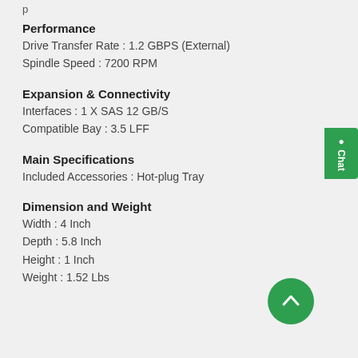Performance
Drive Transfer Rate : 1.2 GBPS (External)
Spindle Speed : 7200 RPM
Expansion & Connectivity
Interfaces : 1 X SAS 12 GB/S
Compatible Bay : 3.5 LFF
Main Specifications
Included Accessories : Hot-plug Tray
Dimension and Weight
Width : 4 Inch
Depth : 5.8 Inch
Height : 1 Inch
Weight : 1.52 Lbs